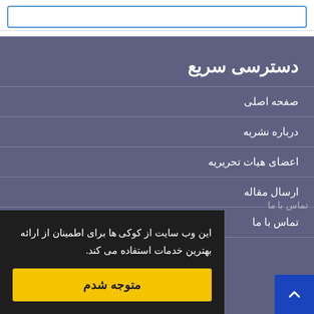[Figure (screenshot): Top input/search box with blue border on white background]
دسترسی سریع
صفحه اصلی
درباره نشریه
اعضای هیات تحریریه
ارسال مقاله
تماس با ما
این وب سایت از کوکی ها برای اطمینان از ارائه بهترین خدمات استفاده می کند.
متوجه شدم